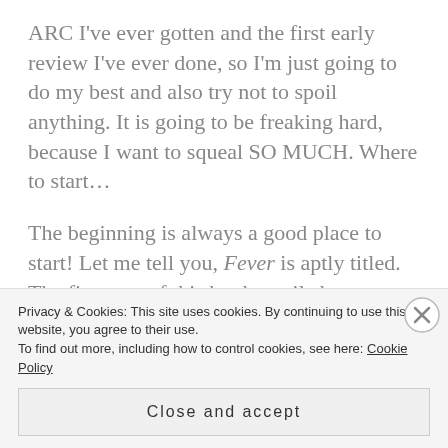ARC I've ever gotten and the first early review I've ever done, so I'm just going to do my best and also try not to spoil anything. It is going to be freaking hard, because I want to squeal SO MUCH. Where to start…
The beginning is always a good place to start! Let me tell you, Fever is aptly titled. The first part of this book–until about Chapter 9 or so (out of 27 chapters)–reads like a haze. DeStefano has a very lyrical way of writing, and its infused with a sort of haze all throughout the beginning that gives the
Privacy & Cookies: This site uses cookies. By continuing to use this website, you agree to their use.
To find out more, including how to control cookies, see here: Cookie Policy
Close and accept